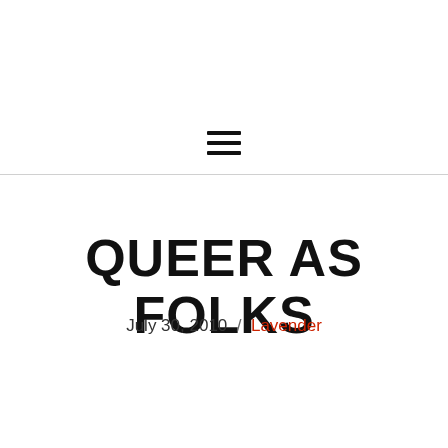[Figure (other): Hamburger menu icon — three horizontal black lines stacked vertically, centered in a navigation bar]
QUEER AS FOLKS
July 30, 2010  /  Lavender